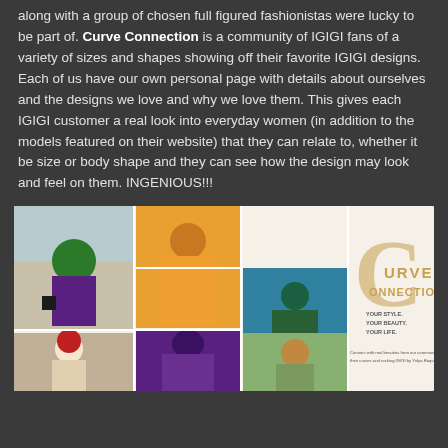along with a group of chosen full figured fashionistas were lucky to be part of. Curve Connection is a community of IGIGI fans of a variety of sizes and shapes showing off their favorite IGIGI designs. Each of us have our own personal page with details about ourselves and the designs we love and why we love them. This gives each IGIGI customer a real look into everyday women (in addition to the models featured on their website) that they can relate to, whether it be size or body shape and they can see how the design may look and feel on them. INGENIOUS!!!
[Figure (photo): Collage image showing plus-size women in colorful IGIGI designs alongside the Curve Connection logo with tagline 'YOUR STYLE. YOUR BEAUTY. YOUR LIFE.' and text 'Connect with real beauties from our community showcasing their curves and rocking IGIGI by Yulya Raquel their way!']